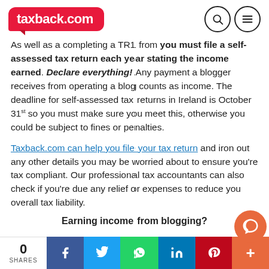[Figure (logo): taxback.com logo in red speech bubble]
As well as a completing a TR1 from you must file a self-assessed tax return each year stating the income earned. Declare everything! Any payment a blogger receives from operating a blog counts as income. The deadline for self-assessed tax returns in Ireland is October 31st so you must make sure you meet this, otherwise you could be subject to fines or penalties.
Taxback.com can help you file your tax return and iron out any other details you may be worried about to ensure you're tax compliant. Our professional tax accountants can also check if you're due any relief or expenses to reduce you overall tax liability.
Earning income from blogging?
0 SHARES | Facebook | Twitter | WhatsApp | LinkedIn | Pinterest | More